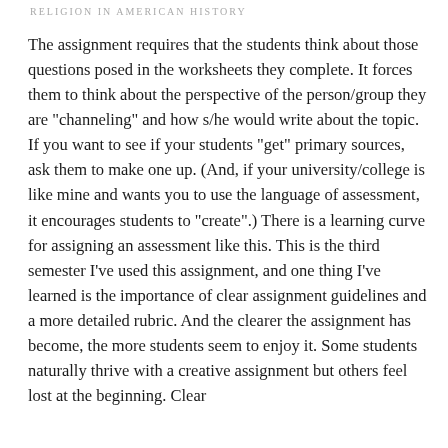RELIGION IN AMERICAN HISTORY
The assignment requires that the students think about those questions posed in the worksheets they complete. It forces them to think about the perspective of the person/group they are "channeling" and how s/he would write about the topic. If you want to see if your students "get" primary sources, ask them to make one up. (And, if your university/college is like mine and wants you to use the language of assessment, it encourages students to "create".) There is a learning curve for assigning an assessment like this. This is the third semester I've used this assignment, and one thing I've learned is the importance of clear assignment guidelines and a more detailed rubric. And the clearer the assignment has become, the more students seem to enjoy it. Some students naturally thrive with a creative assignment but others feel lost at the beginning. Clear guidelines help a lot for the more anxious students.